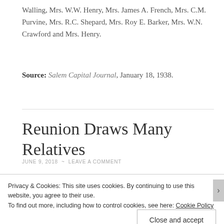Walling, Mrs. W.W. Henry, Mrs. James A. French, Mrs. C.M. Purvine, Mrs. R.C. Shepard, Mrs. Roy E. Barker, Mrs. W.N. Crawford and Mrs. Henry.
Source: Salem Capital Journal, January 18, 1938.
Reunion Draws Many Relatives
JUNE 9, 2018 ~ LEAVE A COMMENT
Privacy & Cookies: This site uses cookies. By continuing to use this website, you agree to their use. To find out more, including how to control cookies, see here: Cookie Policy